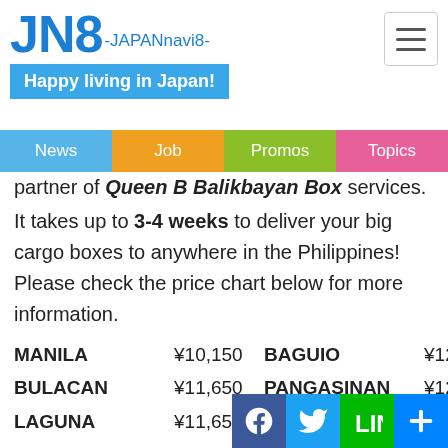JN8 -JAPANnavi8-
Happy living in Japan!
News | Job | Promos | Topics
partner of Queen B Balikbayan Box services.
It takes up to 3-4 weeks to deliver your big cargo boxes to anywhere in the Philippines! Please check the price chart below for more information.
| City | Price | City | Price |
| --- | --- | --- | --- |
| MANILA | ¥10,150 | BAGUIO | ¥12,150 |
| BULACAN | ¥11,650 | PANGASINAN | ¥12,150 |
| LAGUNA | ¥11,650 | LA UNION | ¥12,150 |
| PAMPANGA | ¥11,650 | BATANGAS |  |
| DAVAO | ¥13,150 | INTER ISLAND | ¥1,… |